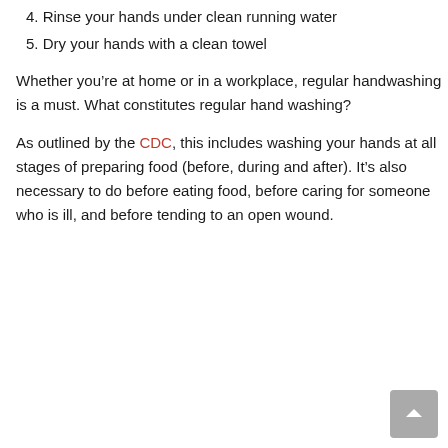4. Rinse your hands under clean running water
5. Dry your hands with a clean towel
Whether you’re at home or in a workplace, regular handwashing is a must. What constitutes regular hand washing?
As outlined by the CDC, this includes washing your hands at all stages of preparing food (before, during and after). It’s also necessary to do before eating food, before caring for someone who is ill, and before tending to an open wound.